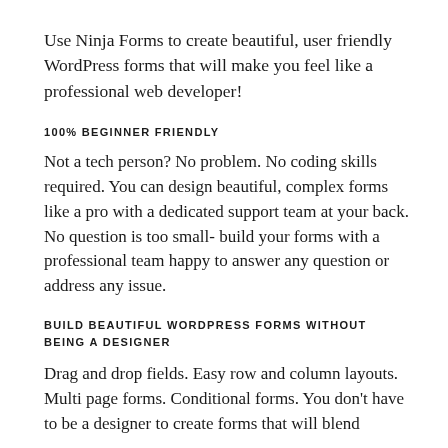Use Ninja Forms to create beautiful, user friendly WordPress forms that will make you feel like a professional web developer!
100% BEGINNER FRIENDLY
Not a tech person? No problem. No coding skills required. You can design beautiful, complex forms like a pro with a dedicated support team at your back. No question is too small- build your forms with a professional team happy to answer any question or address any issue.
BUILD BEAUTIFUL WORDPRESS FORMS WITHOUT BEING A DESIGNER
Drag and drop fields. Easy row and column layouts. Multi page forms. Conditional forms. You don't have to be a designer to create forms that will blend